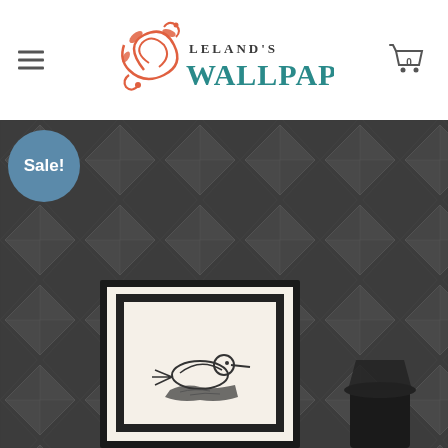[Figure (logo): Leland's Wallpaper logo with coral/orange decorative flourish on the left and teal/dark text reading LELAND'S WALLPAPER]
[Figure (photo): Product photo of dark gray geometric diamond-pattern wallpaper with a framed bird art print leaning against the wall and a dark lamp partially visible. A blue circular 'Sale!' badge overlays the top-left corner.]